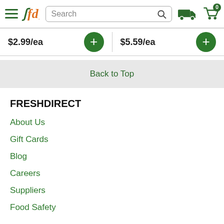FreshDirect navigation header with hamburger menu, logo, search bar, delivery truck icon, and cart icon showing 0 items
$2.99/ea
$5.59/ea
Back to Top
FRESHDIRECT
About Us
Gift Cards
Blog
Careers
Suppliers
Food Safety